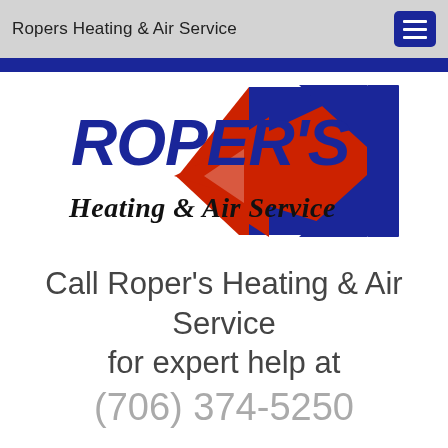Ropers Heating & Air Service
[Figure (logo): Roper's Heating & Air Service logo with blue stylized R, red and blue arrow/chevron graphic, and bold italic text 'Heating & Air Service']
Call Roper's Heating & Air Service for expert help at (706) 374-5250